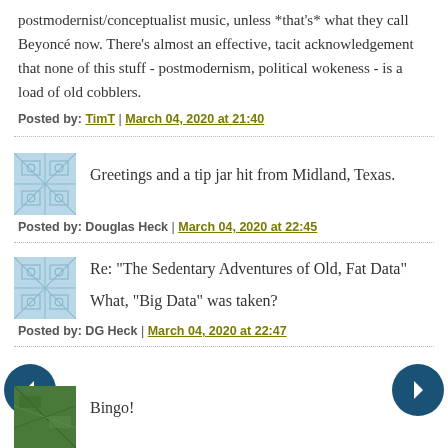postmodernist/conceptualist music, unless *that's* what they call Beyoncé now. There's almost an effective, tacit acknowledgement that none of this stuff - postmodernism, political wokeness - is a load of old cobblers.
Posted by: TimT | March 04, 2020 at 21:40
Greetings and a tip jar hit from Midland, Texas.
Posted by: Douglas Heck | March 04, 2020 at 22:45
Re: "The Sedentary Adventures of Old, Fat Data"

What, "Big Data" was taken?
Posted by: DG Heck | March 04, 2020 at 22:47
Bingo!